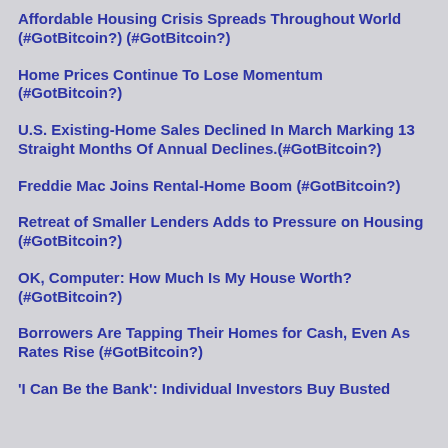Affordable Housing Crisis Spreads Throughout World (#GotBitcoin?) (#GotBitcoin?)
Home Prices Continue To Lose Momentum (#GotBitcoin?)
U.S. Existing-Home Sales Declined In March Marking 13 Straight Months Of Annual Declines.(#GotBitcoin?)
Freddie Mac Joins Rental-Home Boom (#GotBitcoin?)
Retreat of Smaller Lenders Adds to Pressure on Housing (#GotBitcoin?)
OK, Computer: How Much Is My House Worth? (#GotBitcoin?)
Borrowers Are Tapping Their Homes for Cash, Even As Rates Rise (#GotBitcoin?)
'I Can Be the Bank': Individual Investors Buy Busted